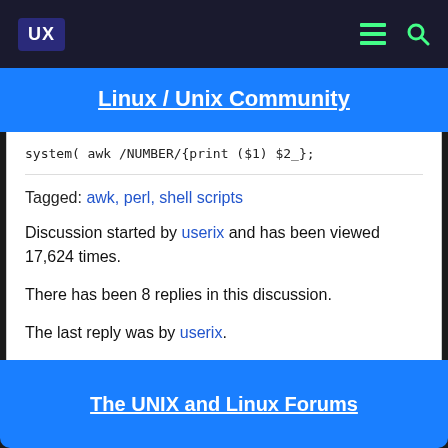UX | Linux / Unix Community
system('awk /NUMBER/{print ($1) $2_};
Tagged: awk, perl, shell scripts
Discussion started by userix and has been viewed 17,624 times.
There has been 8 replies in this discussion.
The last reply was by userix.
The UNIX and Linux Forums